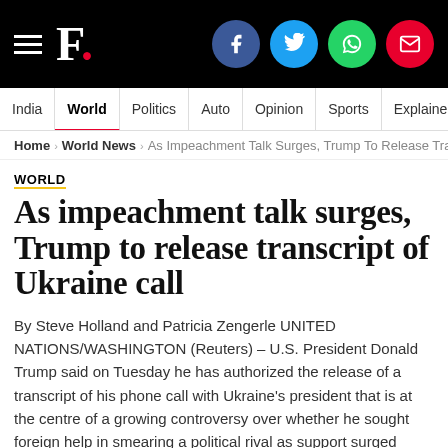F. [Firstpost logo with social icons: Facebook, Twitter, WhatsApp, Email]
India | World | Politics | Auto | Opinion | Sports | Explainers
Home > World News > As Impeachment Talk Surges, Trump To Release Trans…
WORLD
As impeachment talk surges, Trump to release transcript of Ukraine call
By Steve Holland and Patricia Zengerle UNITED NATIONS/WASHINGTON (Reuters) – U.S. President Donald Trump said on Tuesday he has authorized the release of a transcript of his phone call with Ukraine's president that is at the centre of a growing controversy over whether he sought foreign help in smearing a political rival as support surged among Democrats to pursue impeachment